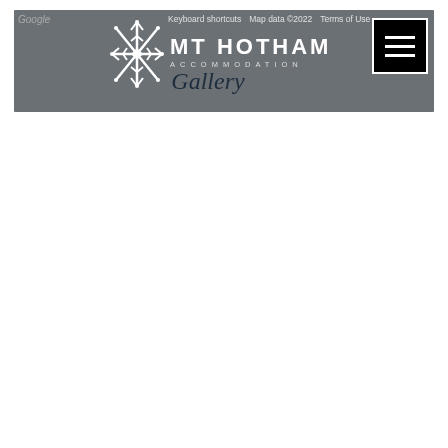Google
Keyboard shortcuts   Map data ©2022   Terms of Use
[Figure (logo): Mt Hotham Accommodation logo with snowflake icon and text MT HOTHAM ACCOMMODATION]
Gallery
[Figure (screenshot): Hamburger menu button (three horizontal bars) in black square with white border]